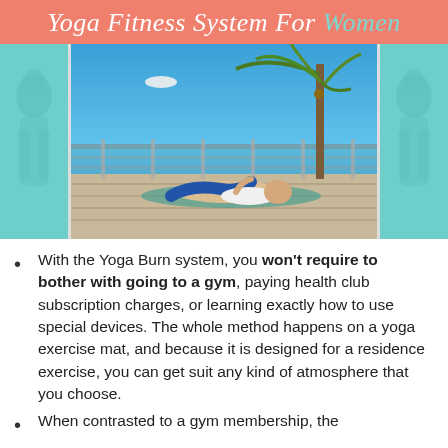Yoga Fitness System For Women
[Figure (photo): Woman doing yoga on an outdoor deck near the ocean with a palm tree blowing in the wind; flanked by teal side panels with faded images of women]
With the Yoga Burn system, you won't require to bother with going to a gym, paying health club subscription charges, or learning exactly how to use special devices. The whole method happens on a yoga exercise mat, and because it is designed for a residence exercise, you can get suit any kind of atmosphere that you choose.
When contrasted to a gym membership, the Yoga Burn system is a lot of...